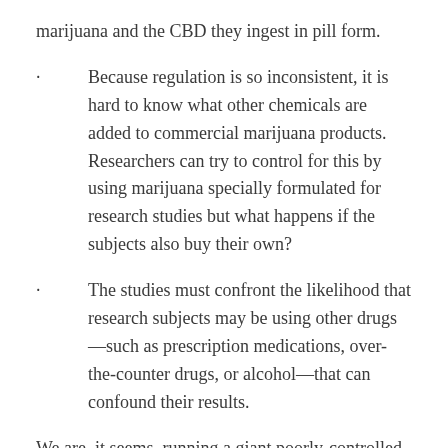marijuana and the CBD they ingest in pill form.
Because regulation is so inconsistent, it is hard to know what other chemicals are added to commercial marijuana products. Researchers can try to control for this by using marijuana specially formulated for research studies but what happens if the subjects also buy their own?
The studies must confront the likelihood that research subjects may be using other drugs—such as prescription medications, over-the-counter drugs, or alcohol—that can confound their results.
We are, it seems, running a giant poorly-controlled national experiment in the use of marijuana. It has important implications for seniors who face real-world